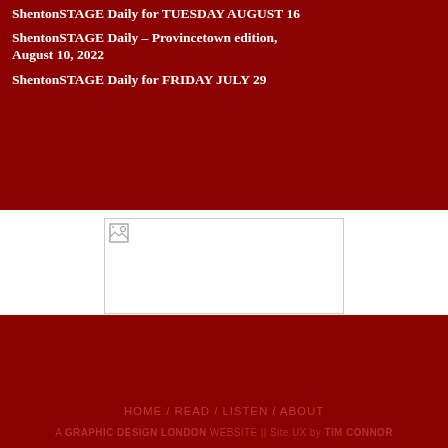ShentonSTAGE Daily for TUESDAY AUGUST 16
ShentonSTAGE Daily – Provincetown edition, August 10, 2022
ShentonSTAGE Daily for FRIDAY JULY 29
[Figure (photo): Broken/unloaded image placeholder displayed as a white rectangle with a small broken image icon in the top-left corner]
HOME / READ / LISTEN / ABOUT
A GRAPHIC DESIGN LONDON WEBSITE || Site UX by TIM CONNOR